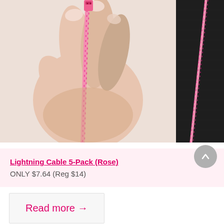[Figure (photo): Close-up photo of a hand holding a pink braided lightning cable, with pink connector tip visible at the top. Light background.]
[Figure (photo): Side photo of a pink braided cable against a dark black textured background.]
Lightning Cable 5-Pack (Rose)
ONLY $7.64 (Reg $14)
Read more →